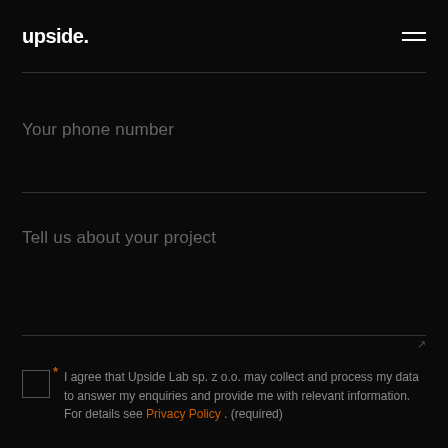upside.
Your phone number
Tell us about your project
* I agree that Upside Lab sp. z o.o. may collect and process my data to answer my enquiries and provide me with relevant information. For details see Privacy Policy . (required)